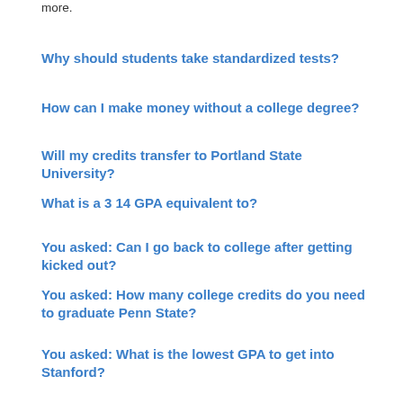materials, internship articles, how to, doctrines and much more.
Why should students take standardized tests?
How can I make money without a college degree?
Will my credits transfer to Portland State University?
What is a 3 14 GPA equivalent to?
You asked: Can I go back to college after getting kicked out?
You asked: How many college credits do you need to graduate Penn State?
You asked: What is the lowest GPA to get into Stanford?